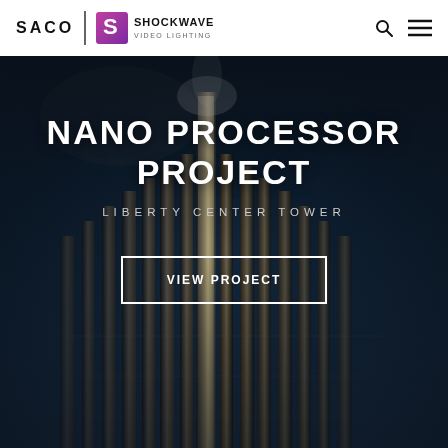SACO | SHOCKWAVE VIDEO LIGHTING
[Figure (photo): Dark nighttime photograph of a tall illuminated tower/building with vertical metallic pillars and architectural lighting, shown against a deep navy blue background]
NANO PROCESSOR PROJECT
LIBERTY CENTER TOWER
VIEW PROJECT